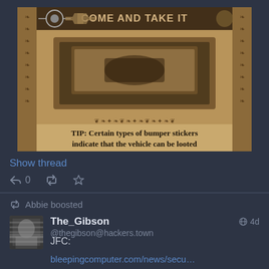[Figure (photo): Sepia-toned image of the back of a pickup truck with 'Come and Take It' banner and gun-shaped design, with decorative border. Caption reads: 'TIP: Certain types of bumper stickers indicate that the vehicle can be looted']
Show thread
0
Abbie boosted
The_Gibson
@thegibson@hackers.town
4d
JFC:
bleepingcomputer.com/news/secu…